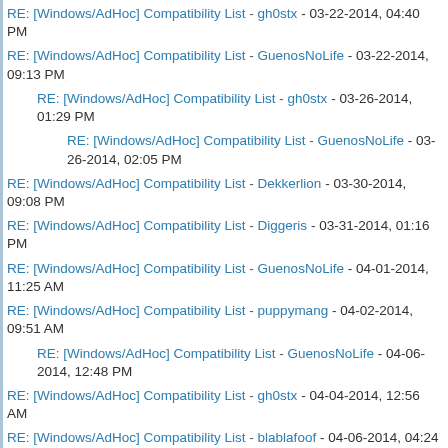RE: [Windows/AdHoc] Compatibility List - gh0stx - 03-22-2014, 04:40 PM
RE: [Windows/AdHoc] Compatibility List - GuenosNoLife - 03-22-2014, 09:13 PM
RE: [Windows/AdHoc] Compatibility List - gh0stx - 03-26-2014, 01:29 PM
RE: [Windows/AdHoc] Compatibility List - GuenosNoLife - 03-26-2014, 02:05 PM
RE: [Windows/AdHoc] Compatibility List - Dekkerlion - 03-30-2014, 09:08 PM
RE: [Windows/AdHoc] Compatibility List - Diggeris - 03-31-2014, 01:16 PM
RE: [Windows/AdHoc] Compatibility List - GuenosNoLife - 04-01-2014, 11:25 AM
RE: [Windows/AdHoc] Compatibility List - puppymang - 04-02-2014, 09:51 AM
RE: [Windows/AdHoc] Compatibility List - GuenosNoLife - 04-06-2014, 12:48 PM
RE: [Windows/AdHoc] Compatibility List - gh0stx - 04-04-2014, 12:56 AM
RE: [Windows/AdHoc] Compatibility List - blablafoof - 04-06-2014, 04:24 PM
RE: [Windows/AdHoc] Compatibility List - Jamould - 04-09-2014, 12:12 AM
RE: [Windows/AdHoc] Compatibility List - Adhocurr - 04-10-2014